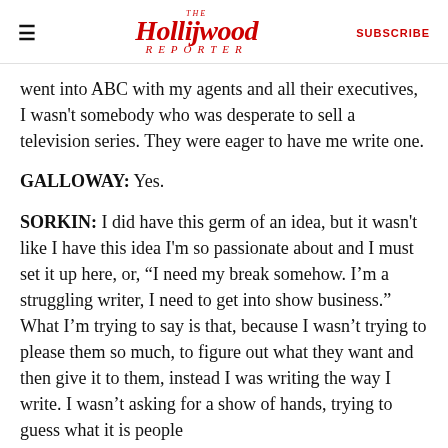The Hollywood Reporter | SUBSCRIBE
went into ABC with my agents and all their executives, I wasn't somebody who was desperate to sell a television series. They were eager to have me write one.
GALLOWAY: Yes.
SORKIN: I did have this germ of an idea, but it wasn't like I have this idea I'm so passionate about and I must set it up here, or, “I need my break somehow. I’m a struggling writer, I need to get into show business.” What I’m trying to say is that, because I wasn’t trying to please them so much, to figure out what they want and then give it to them, instead I was writing the way I write. I wasn’t asking for a show of hands, trying to guess what it is people